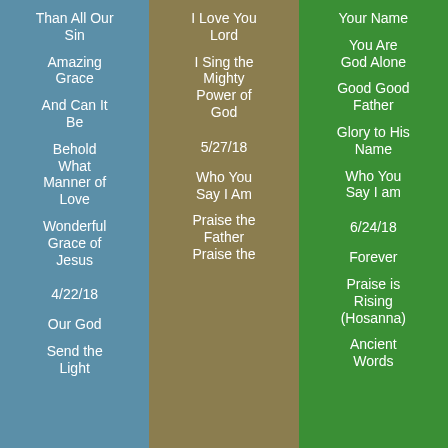Than All Our Sin
Amazing Grace
And Can It Be
Behold What Manner of Love
Wonderful Grace of Jesus
4/22/18
Our God
Send the Light
I Love You Lord
I Sing the Mighty Power of God
5/27/18
Who You Say I Am
Praise the Father Praise the
Your Name
You Are God Alone
Good Good Father
Glory to His Name
Who You Say I am
6/24/18
Forever
Praise is Rising (Hosanna)
Ancient Words